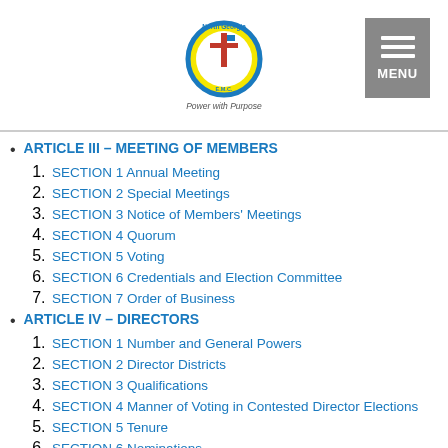[Figure (logo): North Georgia EMC circular logo with yellow and blue design and cross/utility pole symbol, tagline 'Power with Purpose']
ARTICLE III – MEETING OF MEMBERS
SECTION 1 Annual Meeting
SECTION 2 Special Meetings
SECTION 3 Notice of Members' Meetings
SECTION 4 Quorum
SECTION 5 Voting
SECTION 6 Credentials and Election Committee
SECTION 7 Order of Business
ARTICLE IV – DIRECTORS
SECTION 1 Number and General Powers
SECTION 2 Director Districts
SECTION 3 Qualifications
SECTION 4 Manner of Voting in Contested Director Elections
SECTION 5 Tenure
SECTION 6 Nominations
SECTION 7 Voting for Directors; Validity of Board Action